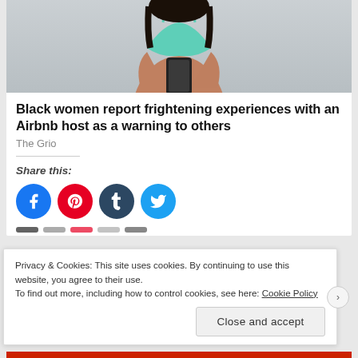[Figure (photo): Woman in teal/mint bikini top holding a smartphone, photographed from shoulders down, outdoor background]
Black women report frightening experiences with an Airbnb host as a warning to others
The Grio
Share this:
[Figure (infographic): Social share buttons: Facebook (blue circle), Pinterest (red circle), Tumblr (dark navy circle), Twitter (cyan circle)]
Privacy & Cookies: This site uses cookies. By continuing to use this website, you agree to their use.
To find out more, including how to control cookies, see here: Cookie Policy
Close and accept